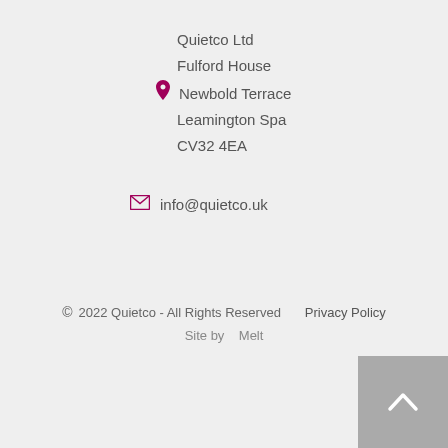Quietco Ltd
Fulford House
Newbold Terrace
Leamington Spa
CV32 4EA
info@quietco.uk
© 2022 Quietco - All Rights Reserved   Privacy Policy
Site by   Melt